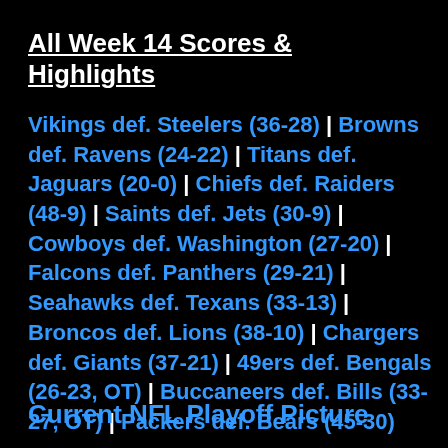All Week 14 Scores & Highlights
Vikings def. Steelers (36-28) | Browns def. Ravens (24-22) | Titans def. Jaguars (20-0) | Chiefs def. Raiders (48-9) | Saints def. Jets (30-9) | Cowboys def. Washington (27-20) | Falcons def. Panthers (29-21) | Seahawks def. Texans (33-13) | Broncos def. Lions (38-10) | Chargers def. Giants (37-21) | 49ers def. Bengals (26-23, OT) | Buccaneers def. Bills (33-27, OT) | Packers def. Bears (45-30)
Current NFL Playoff Picture